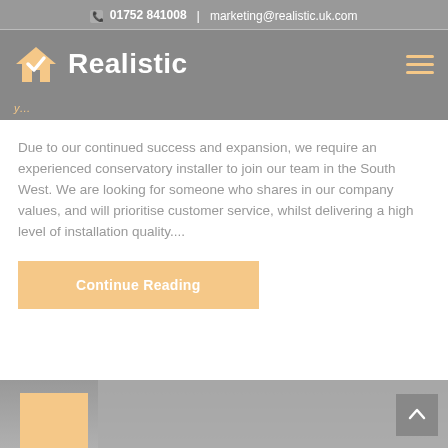📞  01752 841008   |  marketing@realistic.uk.com
[Figure (logo): Realistic logo with house checkmark icon and bold white text reading 'Realistic' on grey navigation bar]
Due to our continued success and expansion, we require an experienced conservatory installer to join our team in the South West. We are looking for someone who shares in our company values, and will prioritise customer service, whilst delivering a high level of installation quality....
Continue Reading
[Figure (photo): Partial view of a grey-toned bottom image strip with an orange box on the left side, suggesting a blog post thumbnail image]